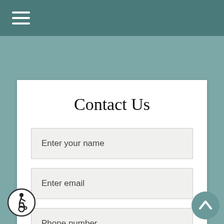Navigation menu (hamburger icon)
Contact Us
Enter your name
Enter email
Phone number
[Figure (illustration): Wheelchair accessibility icon — circular badge with person in wheelchair symbol]
[Figure (illustration): Back to top button — dark teal circular button with upward chevron arrow]